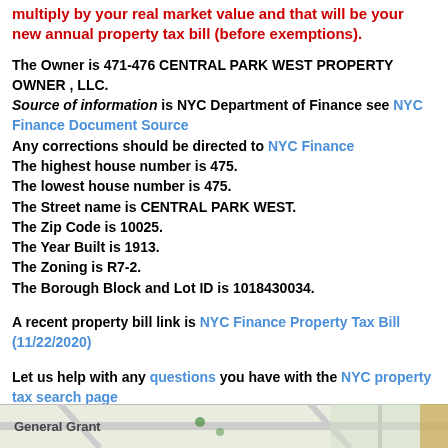multiply by your real market value and that will be your new annual property tax bill (before exemptions).
The Owner is 471-476 CENTRAL PARK WEST PROPERTY OWNER , LLC. Source of information is NYC Department of Finance see NYC Finance Document Source Any corrections should be directed to NYC Finance The highest house number is 475. The lowest house number is 475. The Street name is CENTRAL PARK WEST. The Zip Code is 10025. The Year Built is 1913. The Zoning is R7-2. The Borough Block and Lot ID is 1018430034.
A recent property bill link is NYC Finance Property Tax Bill (11/22/2020)
Let us help with any questions you have with the NYC property tax search page
[Figure (map): Partial map view showing street map area with 'General Grant' label visible]